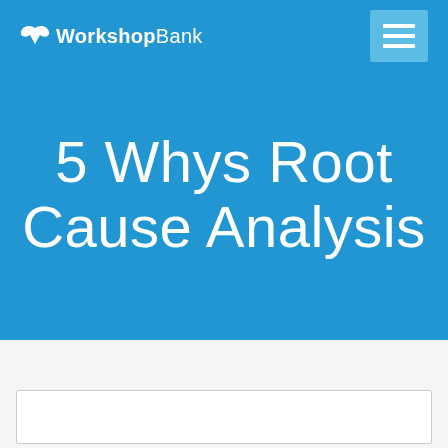[Figure (logo): WorkshopBank logo with butterfly/arrow icon and text]
5 Whys Root Cause Analysis